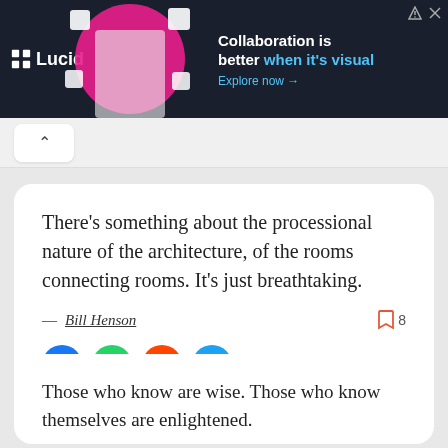[Figure (screenshot): Lucid advertisement banner with dark background. Shows Lucid logo on left, person image in center, and text 'Collaboration is better when it's visual. Explore now →' on right.]
There's something about the processional nature of the architecture, of the rooms connecting rooms. It's just breathtaking.
— Bill Henson
Those who know are wise. Those who know themselves are enlightened.